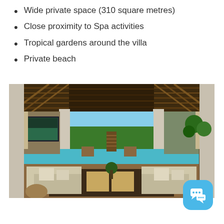Wide private space (310 square metres)
Close proximity to Spa activities
Tropical gardens around the villa
Private beach
[Figure (photo): Interior of a tropical villa pavilion with open sides, wooden ceiling, neutral-toned sofas, coffee tables, a large TV on the left wall, and a view of a swimming pool surrounded by palm trees and tropical vegetation with ocean in the background.]